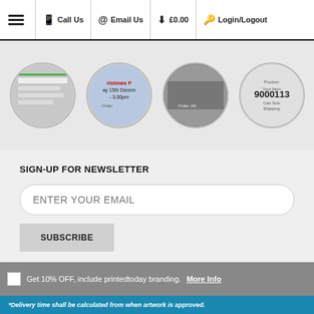Call Us | Email Us | £0.00 | Login/Logout
[Figure (screenshot): Row of four circular thumbnail images showing product/order previews including Christmas deadline notice and order numbers]
SIGN-UP FOR NEWSLETTER
ENTER YOUR EMAIL
SUBSCRIBE
Get 10% OFF, include printedtoday branding. More Info
Total Price: £4.72
Add to cart
*Delivery time shall be calculated from when artwork is approved.